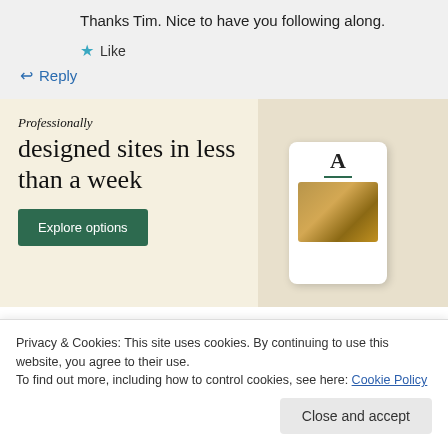Thanks Tim. Nice to have you following along.
★ Like
↩ Reply
[Figure (illustration): Advertisement banner with beige background showing text 'professionally designed sites in less than a week' with a green 'Explore options' button and mockup screenshots of web pages on the right side.]
Privacy & Cookies: This site uses cookies. By continuing to use this website, you agree to their use.
To find out more, including how to control cookies, see here: Cookie Policy